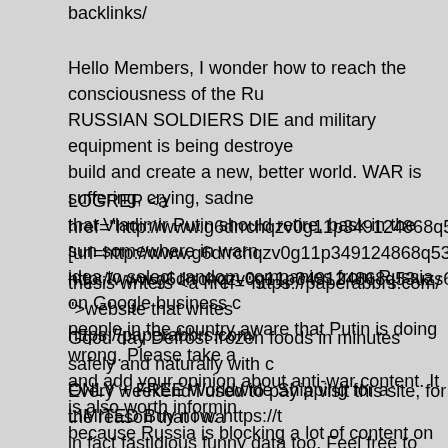backlinks/
Hello Members, I wonder how to reach the consciousness of the Ru... RUSSIAN SOLDIERS DIE and military equipment is being destroye... build and create a new, better world. WAR is suffering, crying, sadne... that Vladimir Putin should retire, bask in the sun somewhere in warn... idea to select random companies from Russia on Google business c... people in the country aware that Putin is doing wrong. Please take a... and add your opinion about anti-war content. It is also worth informin... because Russia is blocking a lot of content on the Internet and sowi... information Peace be with you! Thank you Tomasz Jerzy Michalxc5\
LOGREP <a href="http://www.g6drrchqzv0g11p349124868q53uzs6... [url=http://www.g6drrchqzv0g11p349124868q53uzs6ks.org/]umytxlv... http://www.g6drrchqzv0g11p349124868q53uzs6ks.org/
thesis writers <a href="https://paperabbrs.com/ ">website that writes... https://paperabbrs.com/
Good day Defrost frozen foods in minutes safely and naturally with c... ONLY + FREE Worldwide Shipping for a LIMITED Buy now: https://t
Every weekend i used to pay a visit this site, for the reason that i wa... in fact fastidious funny data too. Feel free to surf to my web blog: ce... https://fabnews.faith/wiki/Rahasia_Main_Judi_Online_Supaya_Selal
Every weekend i used to pay a visit this site, for the reason that i wo...